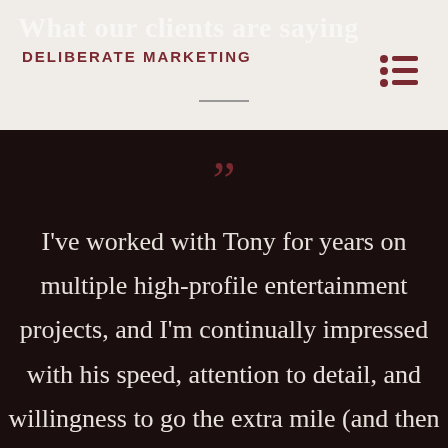What our clients are saying
DELIBERATE MARKETING
“”
I’ve worked with Tony for years on multiple high-profile entertainment projects, and I’m continually impressed with his speed, attention to detail, and willingness to go the extra mile (and then some). As one of the most